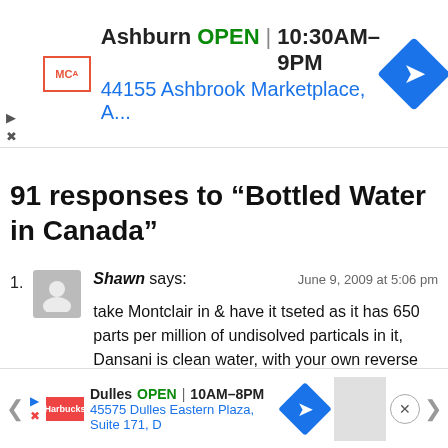[Figure (screenshot): Top advertisement banner for McDonald's Ashburn location showing OPEN 10:30AM-9PM and address 44155 Ashbrook Marketplace, A...]
91 responses to “Bottled Water in Canada”
Shawn says:
June 9, 2009 at 5:06 pm
take Montclair in & have it tseted as it has 650 parts per million of undisolved particals in it, Dansani is clean water, with your own reverse osmosis system you can have perfectly good drinking water without having to buy bottled water & not filling are land with plastic bottles.
Reply
[Figure (screenshot): Bottom advertisement banner for Dulles location showing OPEN 10AM-8PM and address 45575 Dulles Eastern Plaza, Suite 171, D]